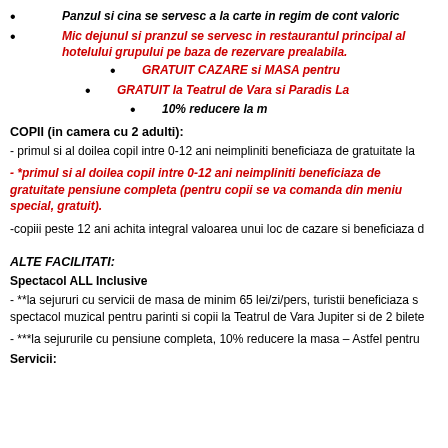Panzul si cina se servesc a la carte in regim de cont valoric
Mic dejunul si pranzul se servesc in restaurantul principal al hotelului grupului pe baza de rezervare prealabila.
GRATUIT CAZARE si MASA pentru
GRATUIT la Teatrul de Vara si Paradis La
10% reducere la m
COPII (in camera cu 2 adulti):
- primul si al doilea copil intre 0-12 ani neimpliniti beneficiaza de gratuitate la
- *primul si al doilea copil intre 0-12 ani neimpliniti beneficiaza de gratuitate pensiune completa (pentru copii se va comanda din meniu special, gratuit).
-copiii peste 12 ani achita integral valoarea unui loc de cazare si beneficiaza d
ALTE FACILITATI:
Spectacol ALL Inclusive
- **la sejururi cu servicii de masa de minim 65 lei/zi/pers, turistii beneficiaza s spectacol muzical pentru parinti si copii la Teatrul de Vara Jupiter si de 2 bilete
- ***la sejururile cu pensiune completa, 10% reducere la masa – Astfel pentru
Servicii: